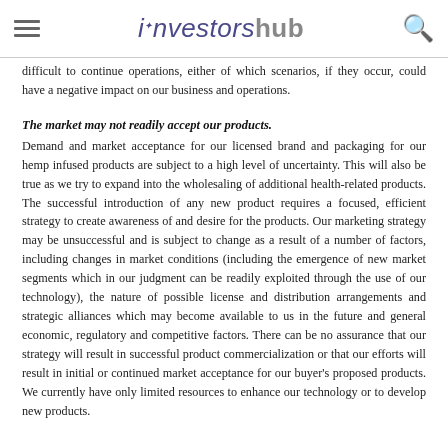investorshub
difficult to continue operations, either of which scenarios, if they occur, could have a negative impact on our business and operations.
The market may not readily accept our products.
Demand and market acceptance for our licensed brand and packaging for our hemp infused products are subject to a high level of uncertainty. This will also be true as we try to expand into the wholesaling of additional health-related products. The successful introduction of any new product requires a focused, efficient strategy to create awareness of and desire for the products. Our marketing strategy may be unsuccessful and is subject to change as a result of a number of factors, including changes in market conditions (including the emergence of new market segments which in our judgment can be readily exploited through the use of our technology), the nature of possible license and distribution arrangements and strategic alliances which may become available to us in the future and general economic, regulatory and competitive factors. There can be no assurance that our strategy will result in successful product commercialization or that our efforts will result in initial or continued market acceptance for our buyer's proposed products. We currently have only limited resources to enhance our technology or to develop new products.